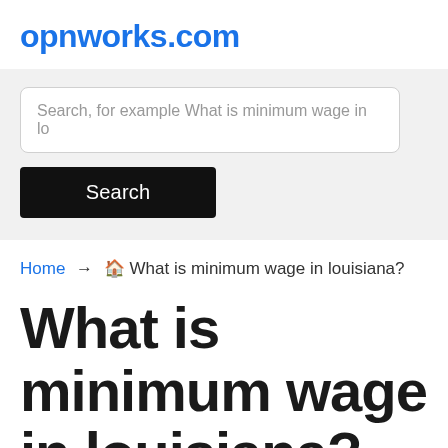opnworks.com
Search, for example What is minimum wage in lo
Search
Home → 🏠 What is minimum wage in louisiana?
What is minimum wage in louisiana?